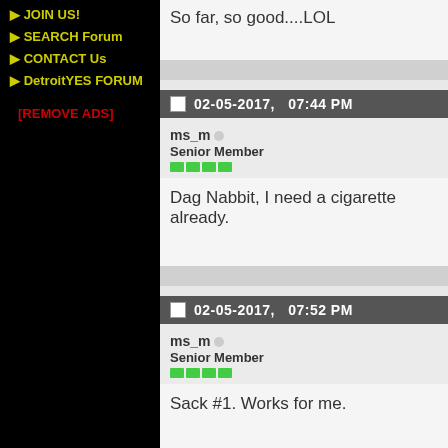JOIN US!
SEARCH Forum
CONTACT Us
DetroitYES FORUM
[REMOVE ADS]
So far, so good....LOL
02-05-2017,   07:44 PM
ms_m
Senior Member
Dag Nabbit, I need a cigarette already.
02-05-2017,   07:52 PM
ms_m
Senior Member
Sack #1. Works for me.